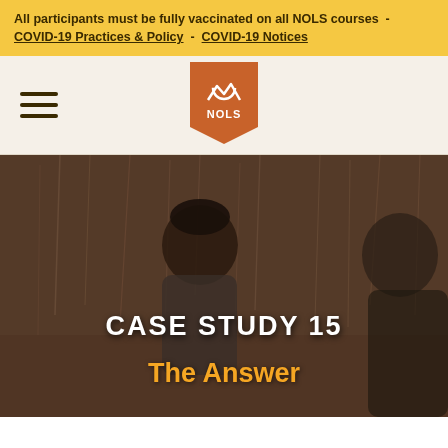All participants must be fully vaccinated on all NOLS courses - COVID-19 Practices & Policy - COVID-19 Notices
[Figure (logo): NOLS logo: orange pennant-shaped badge with white mountain/sun icon and NOLS text]
[Figure (photo): Outdoor photo with two people in field of dry grass/reeds, one wearing dark beanie hat and gray fleece jacket, outdoor wilderness setting. Overlaid with text 'CASE STUDY 15' and 'The Answer'.]
CASE STUDY 15
The Answer